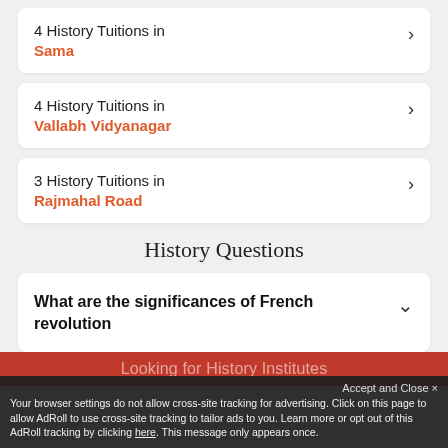4 History Tuitions in Sama
4 History Tuitions in Vallabh Vidyanagar
3 History Tuitions in Rajmahal Road
History Questions
What are the significances of French revolution
Looking for History Institutes
Accept and Close ✕
Your browser settings do not allow cross-site tracking for advertising. Click on this page to allow AdRoll to use cross-site tracking to tailor ads to you. Learn more or opt out of this AdRoll tracking by clicking here. This message only appears once.